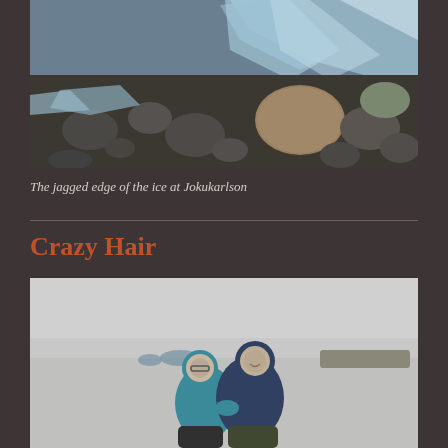[Figure (photo): Close-up photograph of jagged ice and dark rocky beach at Jokukarlson glacier lagoon. Large translucent blue-grey ice shard rests among black and brown rounded stones.]
The jagged edge of the ice at Jokukarlson
Crazy Hair
[Figure (photo): Two people in teal and dark blue winter jackets sitting together on a cold grey beach, smiling at camera. Overcast sky and icy water in background.]